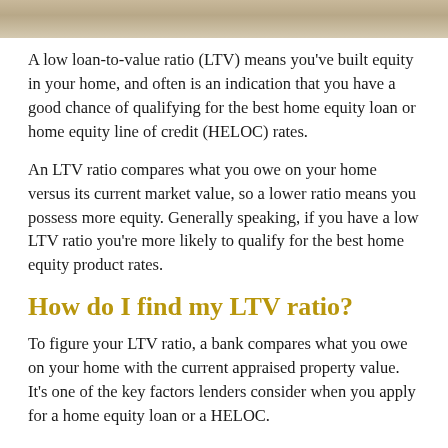[Figure (photo): Decorative header image bar showing a person or home-related scene, cropped to a narrow horizontal strip]
A low loan-to-value ratio (LTV) means you've built equity in your home, and often is an indication that you have a good chance of qualifying for the best home equity loan or home equity line of credit (HELOC) rates.
An LTV ratio compares what you owe on your home versus its current market value, so a lower ratio means you possess more equity. Generally speaking, if you have a low LTV ratio you're more likely to qualify for the best home equity product rates.
How do I find my LTV ratio?
To figure your LTV ratio, a bank compares what you owe on your home with the current appraised property value. It's one of the key factors lenders consider when you apply for a home equity loan or a HELOC.